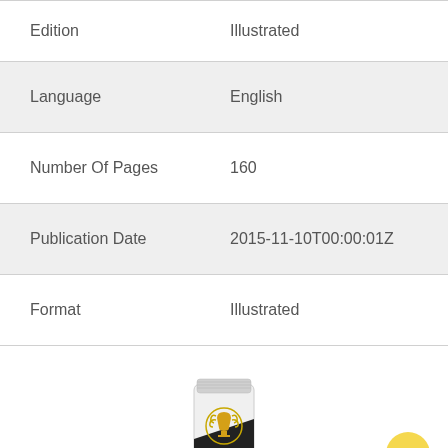| Field | Value |
| --- | --- |
| Edition | Illustrated |
| Language | English |
| Number Of Pages | 160 |
| Publication Date | 2015-11-10T00:00:01Z |
| Format | Illustrated |
[Figure (photo): Product tube with gold trophy/laurel badge and black diagonal stripe, partially visible at bottom of page]